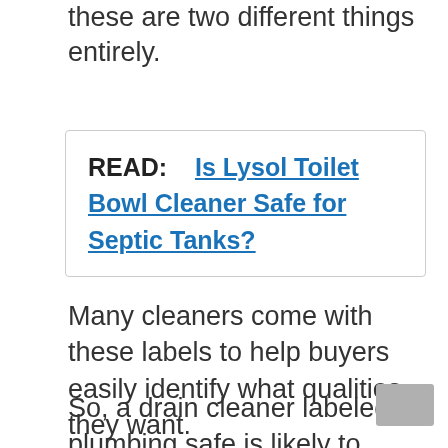these are two different things entirely.
READ:    Is Lysol Toilet Bowl Cleaner Safe for Septic Tanks?
Many cleaners come with these labels to help buyers easily identify what qualities they want.
So, a drain cleaner labeled plumbing safe is likely to contain still chemicals considered harsh to beneficial bacteria within a septic tank.